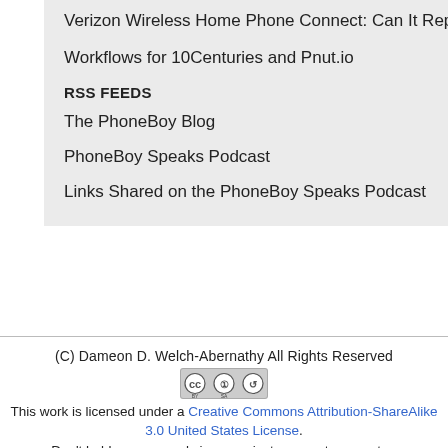Verizon Wireless Home Phone Connect: Can It Replace a Landline?
Workflows for 10Centuries and Pnut.io
RSS FEEDS
The PhoneBoy Blog
PhoneBoy Speaks Podcast
Links Shared on the PhoneBoy Speaks Podcast
(C) Dameon D. Welch-Abernathy All Rights Reserved
[Figure (logo): Creative Commons BY-SA license badge]
This work is licensed under a Creative Commons Attribution-ShareAlike 3.0 United States License.
Don't hold my personal views against any past, present or